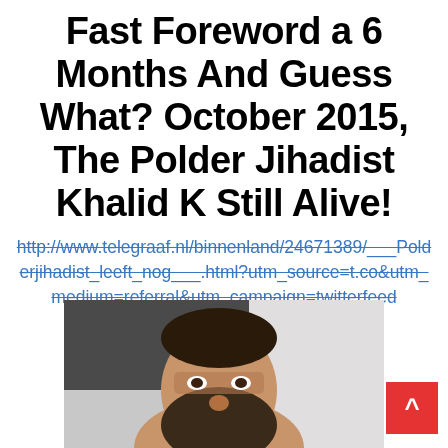Fast Foreword a 6 Months And Guess What? October 2015, The Polder Jihadist Khalid K Still Alive!
http://www.telegraaf.nl/binnenland/24671389/___Polderjihadist_leeft_nog___.html?utm_source=t.co&utm_medium=referral&utm_campaign=twitterfeed
[Figure (photo): Photograph of a man with a beard, face partially visible, taken indoors against a light background.]